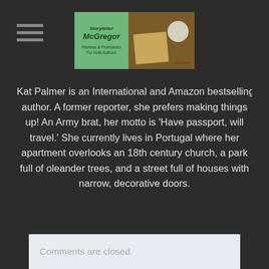Storyteller McGregor — Reviews & Promotions For Indie Authors
Kat Palmer is an International and Amazon bestselling author. A former reporter, she prefers making things up! An Army brat, her motto is 'Have passport, will travel.' She currently lives in Portugal where her apartment overlooks an 18th century church, a park full of oleander trees, and a street full of houses with narrow, decorative doors.
Kat's FB Page
Tweet
Comments are closed.